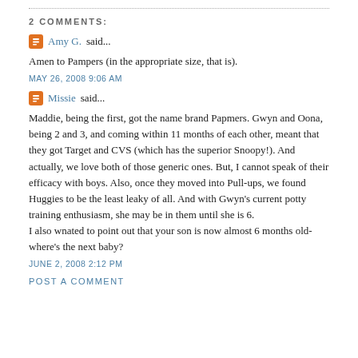2 COMMENTS:
Amy G. said...
Amen to Pampers (in the appropriate size, that is).
MAY 26, 2008 9:06 AM
Missie said...
Maddie, being the first, got the name brand Papmers. Gwyn and Oona, being 2 and 3, and coming within 11 months of each other, meant that they got Target and CVS (which has the superior Snoopy!). And actually, we love both of those generic ones. But, I cannot speak of their efficacy with boys. Also, once they moved into Pull-ups, we found Huggies to be the least leaky of all. And with Gwyn's current potty training enthusiasm, she may be in them until she is 6.
I also wnated to point out that your son is now almost 6 months old- where's the next baby?
JUNE 2, 2008 2:12 PM
POST A COMMENT